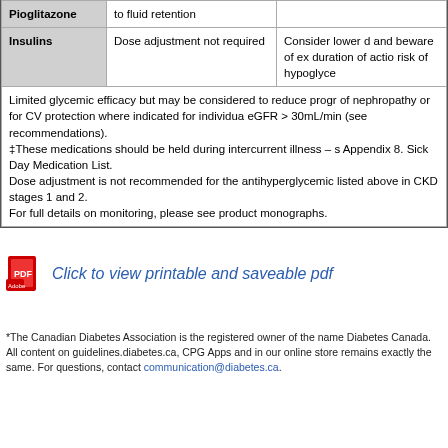| Drug | Dose Adjustment | Considerations |
| --- | --- | --- |
| Pioglitazone | to fluid retention |  |
| Insulins | Dose adjustment not required | Consider lower d and beware of ex duration of actio risk of hypoglyce |
Limited glycemic efficacy but may be considered to reduce progression of nephropathy or for CV protection where indicated for individuals with eGFR > 30mL/min (see recommendations). ‡These medications should be held during intercurrent illness – see Appendix 8. Sick Day Medication List. Dose adjustment is not recommended for the antihyperglycemic agents listed above in CKD stages 1 and 2. For full details on monitoring, please see product monographs.
[Figure (other): PDF icon with link: Click to view printable and saveable pdf]
*The Canadian Diabetes Association is the registered owner of the name Diabetes Canada. All content on guidelines.diabetes.ca, CPG Apps and in our online store remains exactly the same. For questions, contact communication@diabetes.ca.